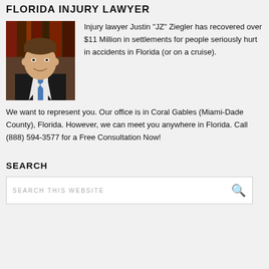FLORIDA INJURY LAWYER
[Figure (photo): Headshot of injury lawyer Justin 'JZ' Ziegler, a young man in a dark suit and tie, smiling, with bookshelves in the background.]
Injury lawyer Justin "JZ" Ziegler has recovered over $11 Million in settlements for people seriously hurt in accidents in Florida (or on a cruise).
We want to represent you. Our office is in Coral Gables (Miami-Dade County), Florida. However, we can meet you anywhere in Florida. Call (888) 594-3577 for a Free Consultation Now!
SEARCH
SEARCH THIS WEBSITE